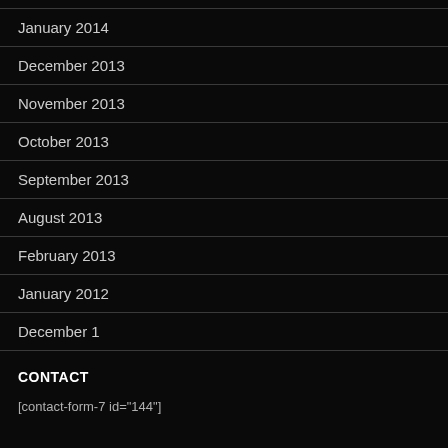January 2014
December 2013
November 2013
October 2013
September 2013
August 2013
February 2013
January 2012
December 1
CONTACT
[contact-form-7 id="144"]